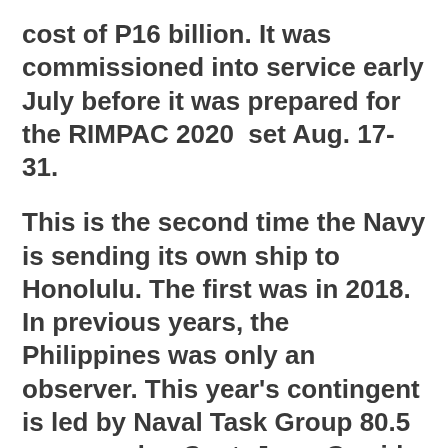cost of P16 billion. It was commissioned into service early July before it was prepared for the RIMPAC 2020  set Aug. 17-31.
This is the second time the Navy is sending its own ship to Honolulu. The first was in 2018. In previous years, the Philippines was only an observer. This year's contingent is led by Naval Task Group 80.5 commander, Capt. Jerry Garrido Jr., also the commander of the BRP Jose Rizal.
Held every two years, RIMPAC is hosted by the US Navy in the Pacific Command. It...